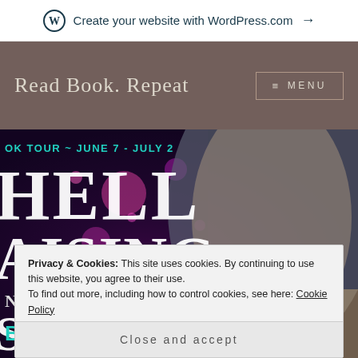Create your website with WordPress.com →
Read Book. Repeat
≡ MENU
[Figure (photo): Book tour banner for 'Hell Raising and Other Stories' with a close-up of a woman's face against a dark purple background with pink bokeh lights. Text overlay reads: BOOK TOUR ~ JUNE 7 - JULY 2, HELL RAISING, AND OTHER, B...]
Privacy & Cookies: This site uses cookies. By continuing to use this website, you agree to their use.
To find out more, including how to control cookies, see here: Cookie Policy
Close and accept